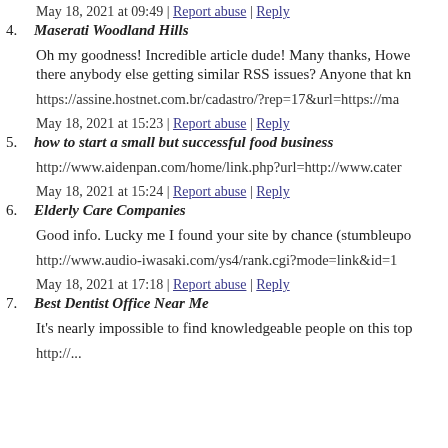May 18, 2021 at 09:49 | Report abuse | Reply
4. Maserati Woodland Hills
Oh my goodness! Incredible article dude! Many thanks, Howe... there anybody else getting similar RSS issues? Anyone that kn...
https://assine.hostnet.com.br/cadastro/?rep=17&url=https://ma...
May 18, 2021 at 15:23 | Report abuse | Reply
5. how to start a small but successful food business
http://www.aidenpan.com/home/link.php?url=http://www.cater...
May 18, 2021 at 15:24 | Report abuse | Reply
6. Elderly Care Companies
Good info. Lucky me I found your site by chance (stumbleupo...
http://www.audio-iwasaki.com/ys4/rank.cgi?mode=link&id=1...
May 18, 2021 at 17:18 | Report abuse | Reply
7. Best Dentist Office Near Me
It's nearly impossible to find knowledgeable people on this top...
http://...